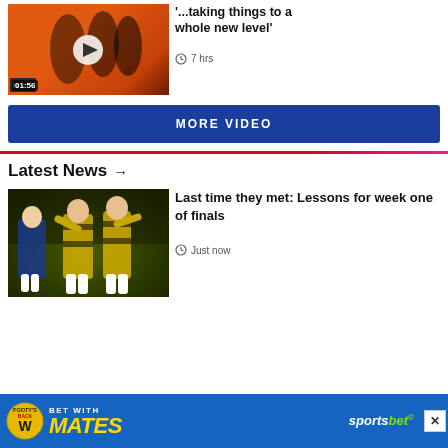[Figure (screenshot): Video thumbnail showing AFL players with orange background and play button overlay, duration 01:56]
'...taking things to a whole new level'
7 hrs
MORE VIDEO
Latest News →
[Figure (photo): AFL players celebrating on field, Richmond tigers in yellow and black jerseys, Brisbane Lions player in blue and red]
Last time they met: Lessons for week one of finals
Just now
[Figure (infographic): Sportsbet advertisement banner - BET WITH MATES with Footy's Back badge and sportsbet logo]